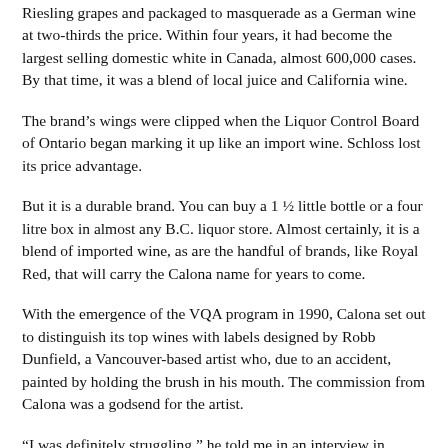Riesling grapes and packaged to masquerade as a German wine at two-thirds the price. Within four years, it had become the largest selling domestic white in Canada, almost 600,000 cases. By that time, it was a blend of local juice and California wine.
The brand's wings were clipped when the Liquor Control Board of Ontario began marking it up like an import wine. Schloss lost its price advantage.
But it is a durable brand. You can buy a 1 ½ little bottle or a four litre box in almost any B.C. liquor store. Almost certainly, it is a blend of imported wine, as are the handful of brands, like Royal Red, that will carry the Calona name for years to come.
With the emergence of the VQA program in 1990, Calona set out to distinguish its top wines with labels designed by Robb Dunfield, a Vancouver-based artist who, due to an accident, painted by holding the brush in his mouth. The commission from Calona was a godsend for the artist.
“I was definitely struggling,” he told me in an interview in